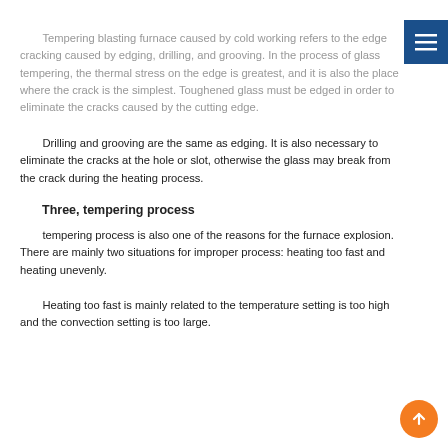Tempering blasting furnace caused by cold working refers to the edge cracking caused by edging, drilling, and grooving. In the process of glass tempering, the thermal stress on the edge is greatest, and it is also the place where the crack is the simplest. Toughened glass must be edged in order to eliminate the cracks caused by the cutting edge.
Drilling and grooving are the same as edging. It is also necessary to eliminate the cracks at the hole or slot, otherwise the glass may break from the crack during the heating process.
Three, tempering process
tempering process is also one of the reasons for the furnace explosion. There are mainly two situations for improper process: heating too fast and heating unevenly.
Heating too fast is mainly related to the temperature setting is too high and the convection setting is too large.